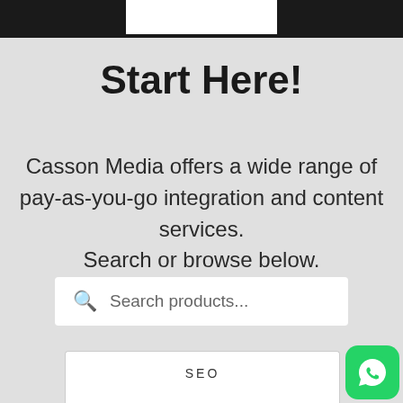Start Here!
Casson Media offers a wide range of pay-as-you-go integration and content services. Search or browse below.
[Figure (other): Search bar with magnifying glass icon and placeholder text 'Search products...']
SEO
ADS
[Figure (other): WhatsApp button icon in bottom right corner]